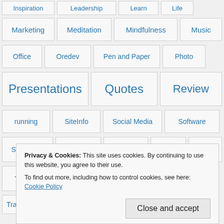Inspiration, Leadership, Learn, Life
Marketing, Meditation, Mindfulness, Music
Office, Oredev, Pen and Paper, Photo
Presentations, Quotes, Review
running, SiteInfo, Social Media, Software
Spirituality, Success, Talks, TED, Tools
Travel, video, Write, yoga
Translations (partial)
Privacy & Cookies: This site uses cookies. By continuing to use this website, you agree to their use.
To find out more, including how to control cookies, see here: Cookie Policy
Close and accept